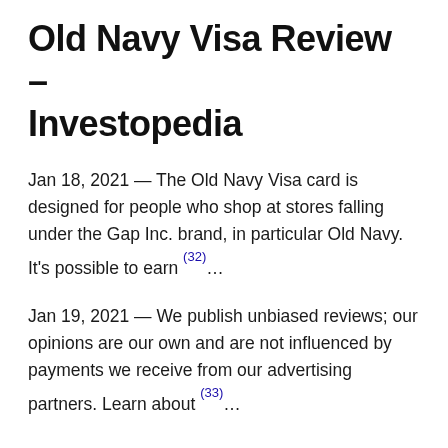Old Navy Visa Review – Investopedia
Jan 18, 2021 — The Old Navy Visa card is designed for people who shop at stores falling under the Gap Inc. brand, in particular Old Navy. It's possible to earn (32)…
Jan 19, 2021 — We publish unbiased reviews; our opinions are our own and are not influenced by payments we receive from our advertising partners. Learn about (33)…